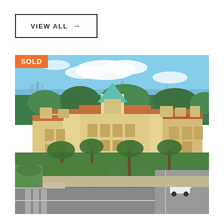VIEW ALL →
[Figure (photo): Aerial view of a large Mediterranean-style luxury condominium complex with cream/yellow stucco exterior, terracotta roof tiles, turquoise pyramid-topped tower, surrounded by palm trees and tropical landscaping, with Sarasota Bay visible in the background under blue sky. A white SUV is visible on the street. SOLD badge in orange at top left.]